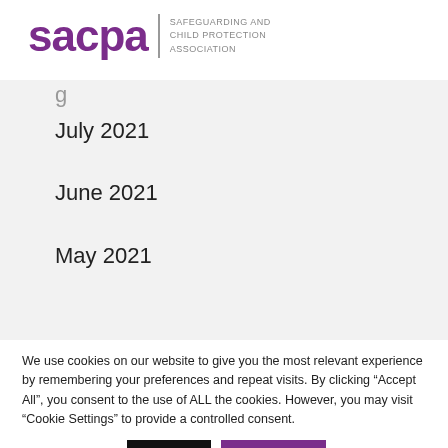[Figure (logo): SACPA logo with purple text 'sacpa' and divider line followed by 'SAFEGUARDING AND CHILD PROTECTION ASSOCIATION' in grey]
July 2021
June 2021
May 2021
We use cookies on our website to give you the most relevant experience by remembering your preferences and repeat visits. By clicking “Accept All”, you consent to the use of ALL the cookies. However, you may visit “Cookie Settings” to provide a controlled consent.
Cookie settings | Reject | Accept All